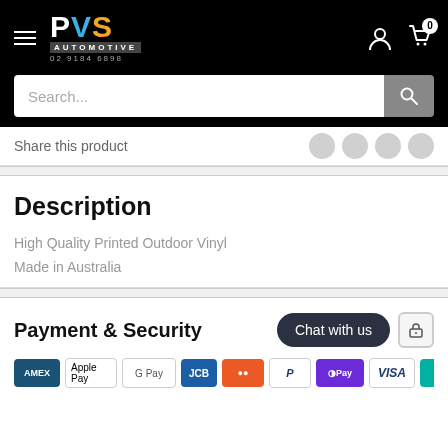[Figure (logo): PVS Automotive logo on black header with hamburger menu, user icon, and cart icon]
Search...
Share this product
Description
High Quality Printed Outdoor Vinyl
Made in Australia
Payment & Security
Chat with us
[Figure (infographic): Payment method icons: Amex, Apple Pay, Google Pay, JCB, Mastercard, PayPal, OPay, Visa, eWay]